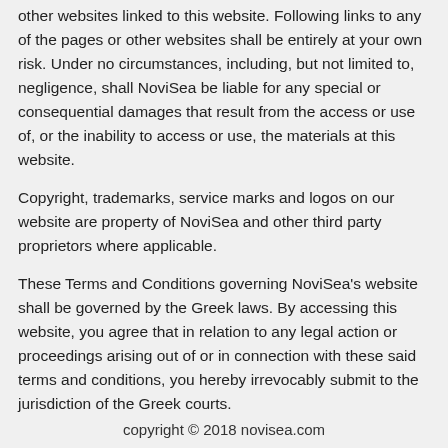other websites linked to this website. Following links to any of the pages or other websites shall be entirely at your own risk. Under no circumstances, including, but not limited to, negligence, shall NoviSea be liable for any special or consequential damages that result from the access or use of, or the inability to access or use, the materials at this website.
Copyright, trademarks, service marks and logos on our website are property of NoviSea and other third party proprietors where applicable.
These Terms and Conditions governing NoviSea's website shall be governed by the Greek laws. By accessing this website, you agree that in relation to any legal action or proceedings arising out of or in connection with these said terms and conditions, you hereby irrevocably submit to the jurisdiction of the Greek courts.
copyright © 2018 novisea.com